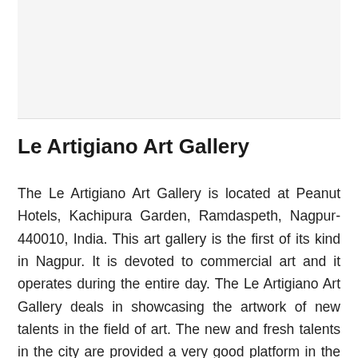[Figure (photo): Light grey rectangular image placeholder at the top of the page]
Le Artigiano Art Gallery
The Le Artigiano Art Gallery is located at Peanut Hotels, Kachipura Garden, Ramdaspeth, Nagpur-440010, India. This art gallery is the first of its kind in Nagpur. It is devoted to commercial art and it operates during the entire day. The Le Artigiano Art Gallery deals in showcasing the artwork of new talents in the field of art. The new and fresh talents in the city are provided a very good platform in the form of Le Artigiano Art Gallery